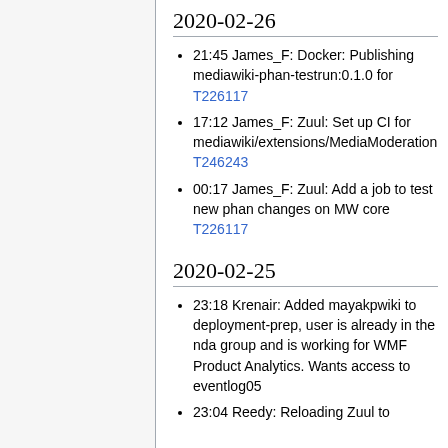2020-02-26
21:45 James_F: Docker: Publishing mediawiki-phan-testrun:0.1.0 for T226117
17:12 James_F: Zuul: Set up CI for mediawiki/extensions/MediaModeration T246243
00:17 James_F: Zuul: Add a job to test new phan changes on MW core T226117
2020-02-25
23:18 Krenair: Added mayakpwiki to deployment-prep, user is already in the nda group and is working for WMF Product Analytics. Wants access to eventlog05
23:04 Reedy: Reloading Zuul to